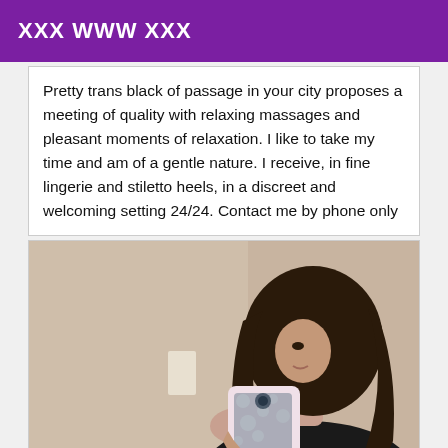XXX WWW XXX
Pretty trans black of passage in your city proposes a meeting of quality with relaxing massages and pleasant moments of relaxation. I like to take my time and am of a gentle nature. I receive, in fine lingerie and stiletto heels, in a discreet and welcoming setting 24/24. Contact me by phone only
[Figure (photo): A woman with long wavy dark brown hair wearing a black off-shoulder top, taking a mirror selfie holding a pink floral phone case iPhone. The background shows a textured beige/tan wall and a mirror.]